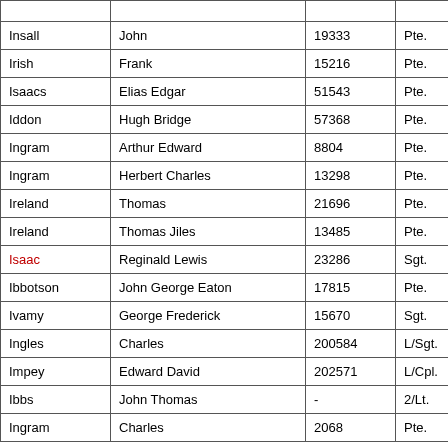| Surname | Given Names | Number | Rank |
| --- | --- | --- | --- |
| Insall | John | 19333 | Pte. |
| Irish | Frank | 15216 | Pte. |
| Isaacs | Elias Edgar | 51543 | Pte. |
| Iddon | Hugh Bridge | 57368 | Pte. |
| Ingram | Arthur Edward | 8804 | Pte. |
| Ingram | Herbert Charles | 13298 | Pte. |
| Ireland | Thomas | 21696 | Pte. |
| Ireland | Thomas Jiles | 13485 | Pte. |
| Isaac | Reginald Lewis | 23286 | Sgt. |
| Ibbotson | John George Eaton | 17815 | Pte. |
| Ivamy | George Frederick | 15670 | Sgt. |
| Ingles | Charles | 200584 | L/Sgt. |
| Impey | Edward David | 202571 | L/Cpl. |
| Ibbs | John Thomas | - | 2/Lt. |
| Ingram | Charles | 2068 | Pte. |